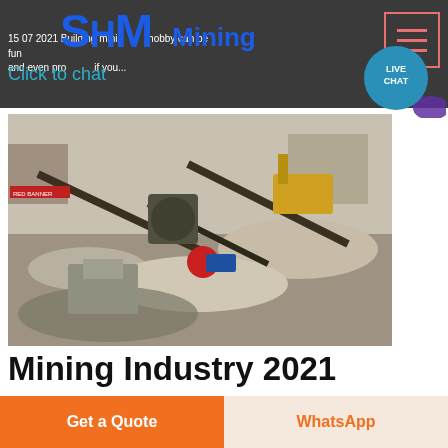SHM Mining
15 07 2021  Building mini hobby can be fun and even profitable, if...
Click to chat
[Figure (photo): Aerial view of a mining site with heavy machinery, conveyors, crushers, and excavated ground]
Mining Industry 2021
Mining Machinery And Equipment Global Market Opportunities And Strategies 2030 COVID 19
Get a Quote
WhatsApp